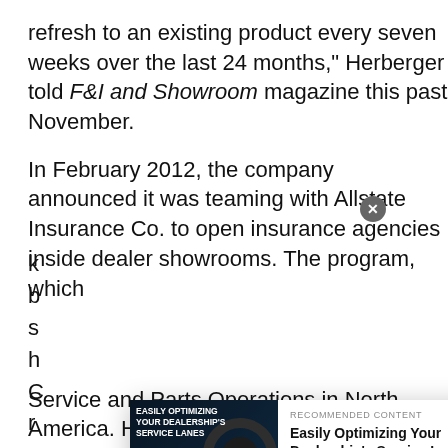refresh to an existing product every seven weeks over the last 24 months," Herberger told F&I and Showroom magazine this past November.
In February 2012, the company announced it was teaming with Allstate Insurance Co. to open insurance agencies inside dealer showrooms. The program, which
[Figure (other): Recommended content overlay card featuring Valvoline advertisement: 'Easily Optimizing Your Dealership's Service Lanes' with image of two mechanics, Valvoline logo, description text, and red READ NOW! button]
Service and Parts Operations in North America. He